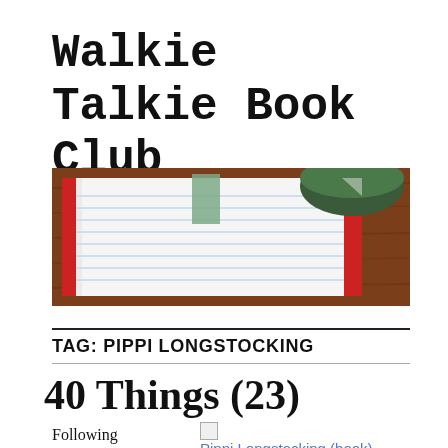Walkie Talkie Book Club
[Figure (photo): Top-down photo of a lined notebook with red cover and green cup on a wooden table]
TAG: PIPPI LONGSTOCKING
40 Things (23)
Following along
Pippi Longstocking (book)
Image via Wikipedia